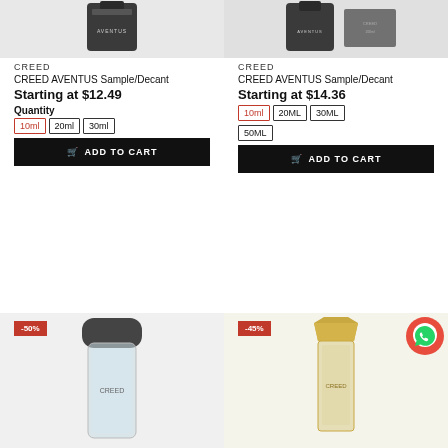[Figure (photo): Top portion of Creed Aventus dark bottle, left product]
[Figure (photo): Top portion of Creed Aventus dark bottle with box, right product]
CREED
CREED AVENTUS Sample/Decant
Starting at $12.49
Quantity
10ml
20ml
30ml
ADD TO CART
CREED
CREED AVENTUS Sample/Decant
Starting at $14.36
10ml
20ML
30ML
50ML
ADD TO CART
[Figure (photo): Creed fragrance clear bottle with dark cap, -50% badge, bottom left]
[Figure (photo): Creed fragrance yellow/gold bottle, -45% badge, WhatsApp bubble, bottom right]